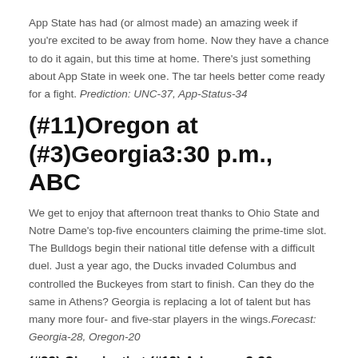App State has had (or almost made) an amazing week if you're excited to be away from home. Now they have a chance to do it again, but this time at home. There's just something about App State in week one. The tar heels better come ready for a fight. Prediction: UNC-37, App-Status-34
(#11)Oregon at (#3)Georgia3:30 p.m., ABC
We get to enjoy that afternoon treat thanks to Ohio State and Notre Dame's top-five encounters claiming the prime-time slot. The Bulldogs begin their national title defense with a difficult duel. Just a year ago, the Ducks invaded Columbus and controlled the Buckeyes from start to finish. Can they do the same in Athens? Georgia is replacing a lot of talent but has many more four- and five-star players in the wings. Forecast: Georgia-28, Oregon-20
(#23) Cinncinati at (#19) Arkansas3:30 p.m. ESPN
This is a crucial game for both programs who are hoping to keep the